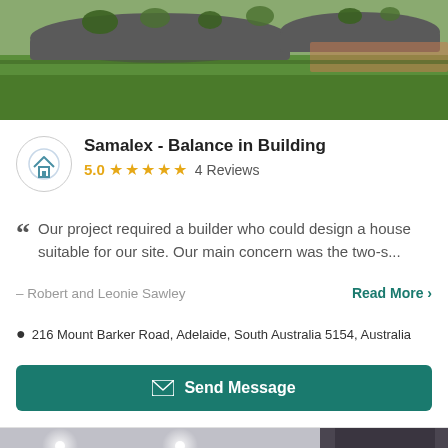[Figure (photo): Garden with raised dark grey planting beds and green lawn, brick-edged garden bed on right]
Samalex - Balance in Building
5.0 ★★★★★ 4 Reviews
Our project required a builder who could design a house suitable for our site. Our main concern was the two-s...
– Robert and Leonie Sawley
Read More >
216 Mount Barker Road, Adelaide, South Australia 5154, Australia
Send Message
[Figure (photo): Interior room with recessed ceiling lights, dark stone feature wall with mounted TV, modern design. Counter badge shows 1/6.]